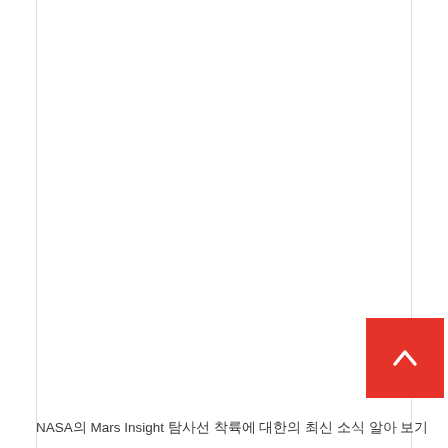NASA의 Mars Insight 탐사선 착륙에 대한의 최신 소식 알아 보기